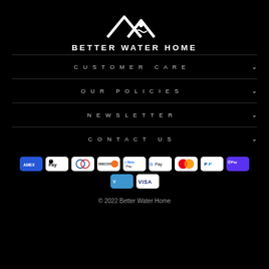[Figure (logo): Better Water Home logo: white mountain/roof chevron shapes with a water drop, text 'BETTER WATER HOME' in white uppercase letters]
CUSTOMER CARE
OUR POLICIES
NEWSLETTER
CONTACT US
[Figure (other): Payment method icons: AMEX, Apple Pay, Diners Club, Discover, Meta Pay, Google Pay, Mastercard, PayPal, Shop Pay, Venmo, Visa]
© 2022 Better Water Home